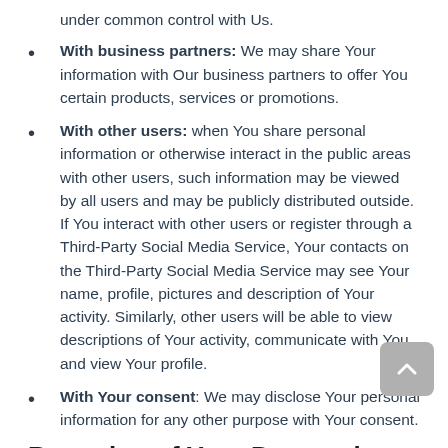under common control with Us.
With business partners: We may share Your information with Our business partners to offer You certain products, services or promotions.
With other users: when You share personal information or otherwise interact in the public areas with other users, such information may be viewed by all users and may be publicly distributed outside. If You interact with other users or register through a Third-Party Social Media Service, Your contacts on the Third-Party Social Media Service may see Your name, profile, pictures and description of Your activity. Similarly, other users will be able to view descriptions of Your activity, communicate with You and view Your profile.
With Your consent: We may disclose Your personal information for any other purpose with Your consent.
Retention of Your Personal Data